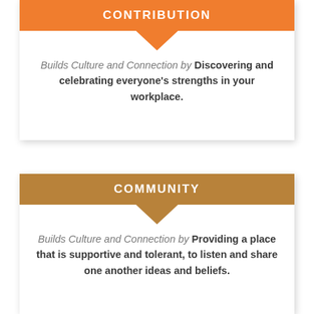CONTRIBUTION
Builds Culture and Connection by Discovering and celebrating everyone's strengths in your workplace.
COMMUNITY
Builds Culture and Connection by Providing a place that is supportive and tolerant, to listen and share one another ideas and beliefs.